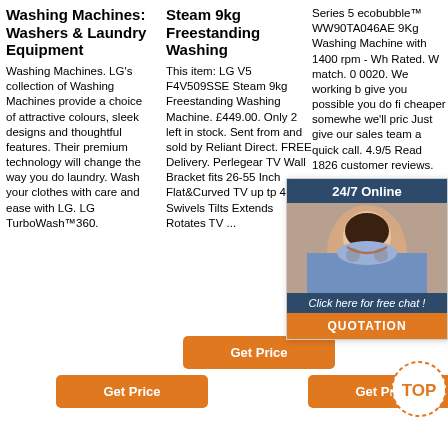Washing Machines: Washers & Laundry Equipment
Washing Machines. LG's collection of Washing Machines provide a choice of attractive colours, sleek designs and thoughtful features. Their premium technology will change the way you do laundry. Wash your clothes with care and ease with LG. LG TurboWash™360.
Get Price
Steam 9kg Freestanding Washing
This item: LG V5 F4V509SSE Steam 9kg Freestanding Washing Machine. £449.00. Only 2 left in stock. Sent from and sold by Reliant Direct. FREE Delivery. Perlegear TV Wall Bracket fits 26-55 Inch Flat&Curved TV up tp 45KG, Swivels Tilts Extends Rotates TV ...
Get Price
Series 5 ecobubble™ WW90TA046AE 9Kg Washing Machine with 1400 rpm - Wh Rated. W match. 0 0020. We working b give you possible you do fi cheaper somewhe we'll pric Just give our sales team a quick call. 4.9/5 Read 1826 customer reviews.
Get Price
[Figure (infographic): 24/7 Online chat widget with a woman customer service agent photo, 'Click here for free chat!' text, and an orange QUOTATION button]